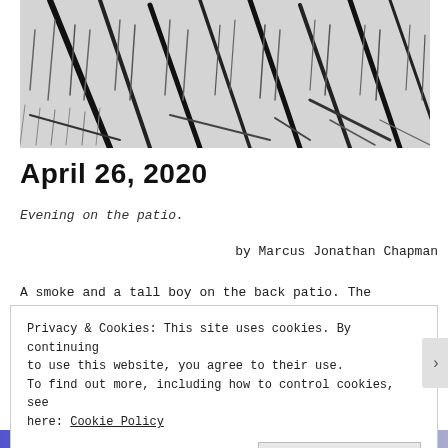[Figure (photo): Black and white close-up photograph of handwriting or brush strokes — diagonal and vertical pen/brush marks on light paper, resembling calligraphy or tally marks.]
April 26, 2020
Evening on the patio.
by Marcus Jonathan Chapman
A smoke and a tall boy on the back patio. The
Privacy & Cookies: This site uses cookies. By continuing to use this website, you agree to their use.
To find out more, including how to control cookies, see here: Cookie Policy